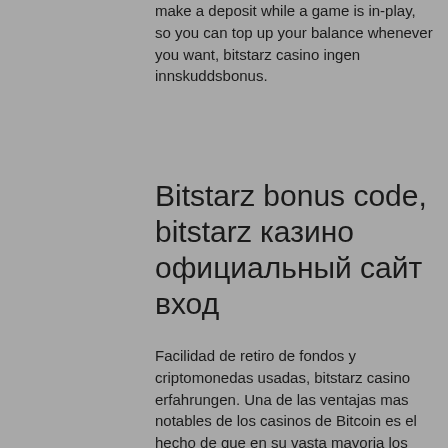make a deposit while a game is in-play, so you can top up your balance whenever you want, bitstarz casino ingen innskuddsbonus.
Bitstarz bonus code, bitstarz казино официальный сайт вход
Facilidad de retiro de fondos y criptomonedas usadas, bitstarz casino erfahrungen. Una de las ventajas mas notables de los casinos de Bitcoin es el hecho de que en su vasta mayoria los fondos pueden depositarse o retirarse en cuestion de minutos gracias al uso de criptomonedas ( algo que no sucedia en las plataformas tradicionales donde estos procesos podian tardar dias) y gracias a ello comenzar a jugar o dejar de hacerlo